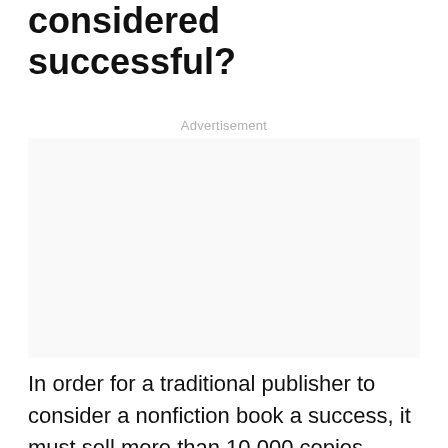considered successful?
Advertisement
In order for a traditional publisher to consider a nonfiction book a success, it must sell more than 10,000 copies during the course of its publication